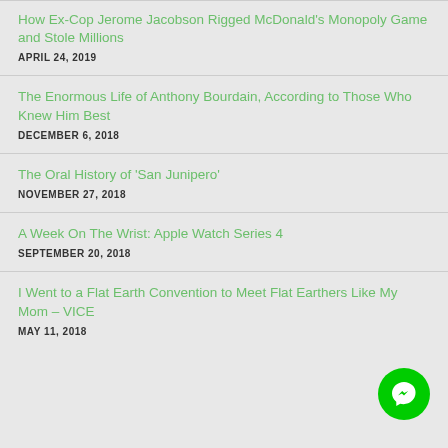How Ex-Cop Jerome Jacobson Rigged McDonald's Monopoly Game and Stole Millions
APRIL 24, 2019
The Enormous Life of Anthony Bourdain, According to Those Who Knew Him Best
DECEMBER 6, 2018
The Oral History of 'San Junipero'
NOVEMBER 27, 2018
A Week On The Wrist: Apple Watch Series 4
SEPTEMBER 20, 2018
I Went to a Flat Earth Convention to Meet Flat Earthers Like My Mom – VICE
MAY 11, 2018